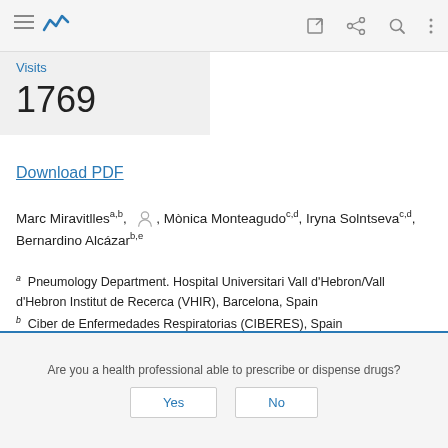Navigation bar with menu, logo, edit, share, search, more icons
Visits
1769
Download PDF
Marc Miravitlles a,b, [icon], Mònica Monteagudo c,d, Iryna Solntseva c,d, Bernardino Alcázar b,e
a Pneumology Department. Hospital Universitari Vall d'Hebron/Vall d'Hebron Institut de Recerca (VHIR), Barcelona, Spain
b Ciber de Enfermedades Respiratorias (CIBERES), Spain
c Primary Care University Research Institute Jordi Gol (IDIAP Jordi Gol), Barcelona, Spain
Are you a health professional able to prescribe or dispense drugs?
Yes    No